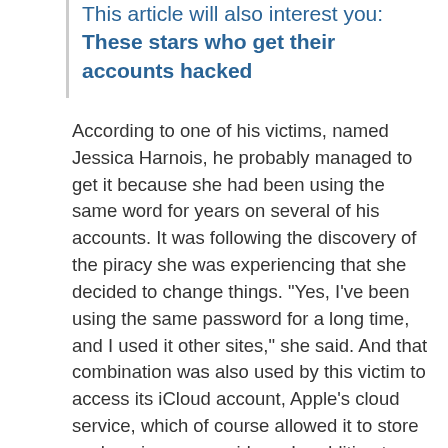This article will also interest you: These stars who get their accounts hacked
According to one of his victims, named Jessica Harnois, he probably managed to get it because she had been using the same word for years on several of his accounts. It was following the discovery of the piracy she was experiencing that she decided to change things. "Yes, I've been using the same password for a long time, and I used it other sites," she said. And that combination was also used by this victim to access its iCloud account, Apple's cloud service, which of course allowed it to store such as images or videos. In addition to iCloud, the same login and password credentials was used for him access to his Facebook and even Netflix Instagram account.
Otherwise a source police to the press on Friday, it is not the victims of the association hacked...